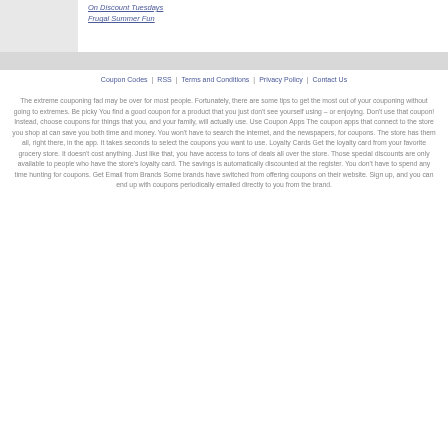[Figure (photo): Partial image of a person at top left, cropped]
On Discount Tuesdays
Frugal Summer Fun
Coupon Codes | RSS | Terms and Conditions | Privacy Policy | Contact Us
The extreme couponing fad may be over for most people. Fortunately, there are some tips to get the most out of your couponing without going to extremes. Be picky You find a good coupon for a product that you just don't see yourself using – or enjoying. Don't use that coupon! Instead, choose coupons for things that you, and your family, will actually use. Use Coupon Apps The coupon apps that connect to the store you shop at can save you both time and money. You won't have to search the internet, and the newspapers, for coupons. The store has them all, right there, in the app. It takes seconds to select the coupons you want to use. Loyalty Cards Get the loyalty card from your favorite grocery store. It doesn't cost anything. Just like that, you have access to tons of deals all over the store. Those special discounts are only available to people who have the store's loyalty card. The savings is automatically discounted at the register. You don't have to spend any time hunting for coupons. Get Email from Brands Some brands have switched from offering coupons on their website. Sign up, and you can end up with coupons periodically emailed directly to you from the brand.